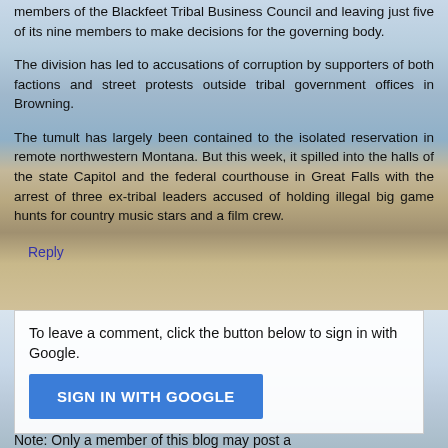members of the Blackfeet Tribal Business Council and leaving just five of its nine members to make decisions for the governing body.
The division has led to accusations of corruption by supporters of both factions and street protests outside tribal government offices in Browning.
The tumult has largely been contained to the isolated reservation in remote northwestern Montana. But this week, it spilled into the halls of the state Capitol and the federal courthouse in Great Falls with the arrest of three ex-tribal leaders accused of holding illegal big game hunts for country music stars and a film crew.
Reply
To leave a comment, click the button below to sign in with Google.
SIGN IN WITH GOOGLE
Note: Only a member of this blog may post a